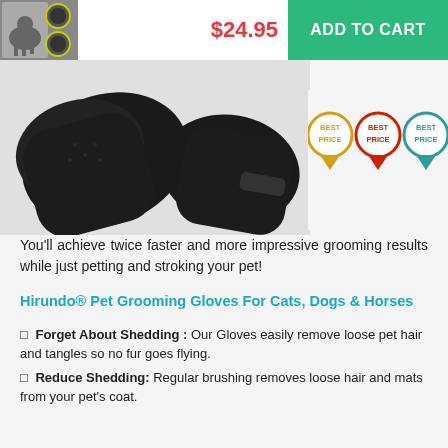[Figure (screenshot): Thumbnail image of a dog being groomed with gloves]
$24.95
ADD TO CART
[Figure (photo): Product photo of black pet grooming gloves]
[Figure (infographic): Three 'BEST PRICE' badge icons in gold, red, and teal]
You'll achieve twice faster and more impressive grooming results while just petting and stroking your pet!
Hirundo® Pet Grooming Gloves For Cats, Dogs & Horses
✓ Forget About Shedding : Our Gloves easily remove loose pet hair and tangles so no fur goes flying.
✓ Reduce Shedding: Regular brushing removes loose hair and mats from your pet's coat.